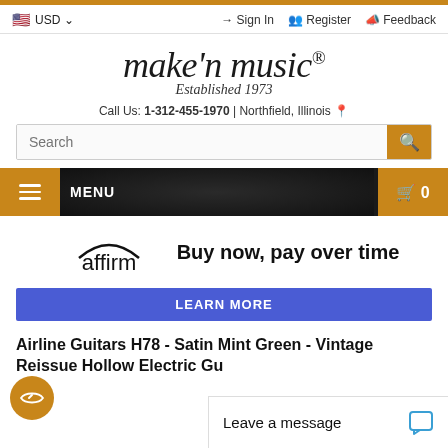USD | Sign In | Register | Feedback
[Figure (logo): make'n music logo with 'Established 1973' tagline]
Call Us: 1-312-455-1970 | Northfield, Illinois
Search
MENU
[Figure (infographic): Affirm logo with arc - Buy now, pay over time]
LEARN MORE
Airline Guitars H78 - Satin Mint Green - Vintage Reissue Hollow Electric Gu...
Leave a message